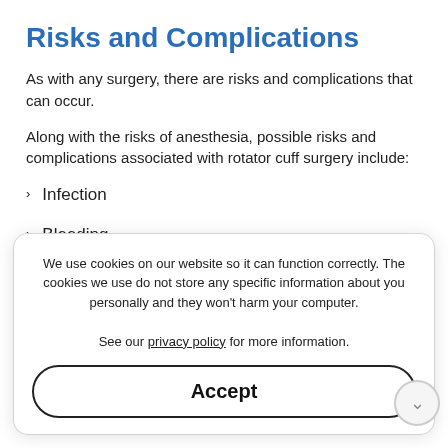Risks and Complications
As with any surgery, there are risks and complications that can occur.
Along with the risks of anesthesia, possible risks and complications associated with rotator cuff surgery include:
Infection
Bleeding
Damage to nerves or blood vessels
Blood clots (deep vein thrombosis)
Stiffness
We use cookies on our website so it can function correctly. The cookies we use do not store any specific information about you personally and they won't harm your computer.

See our privacy policy for more information.
Accept
Summary